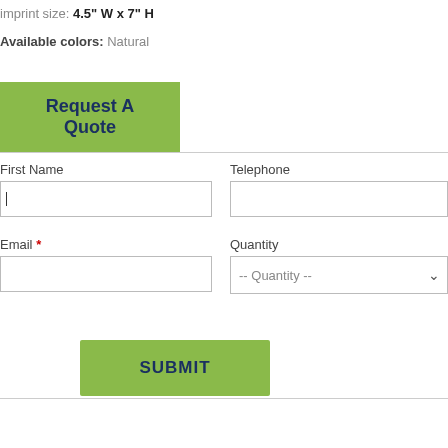imprint size: 4.5" W x 7" H
Available colors: Natural
Request A Quote
First Name
Telephone
Email *
Quantity
SUBMIT